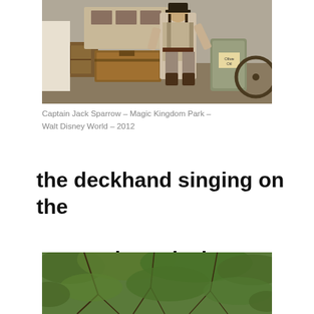[Figure (photo): Captain Jack Sparrow character performer standing at Magic Kingdom Park, surrounded by wooden crates and barrels, in pirate costume]
Captain Jack Sparrow – Magic Kingdom Park – Walt Disney World – 2012
the deckhand singing on the steamboat deck,
[Figure (photo): Aerial or elevated view of dense green tree canopy and branches]